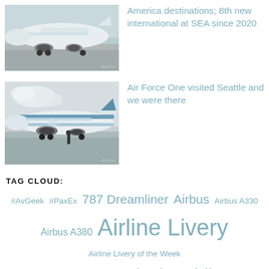[Figure (photo): White commercial airplane (Finnair or similar) on tarmac, front-side view]
America destinations; 8th new international at SEA since 2020
[Figure (photo): Air Force One (blue and white Boeing 747) on tarmac with person standing nearby]
Air Force One visited Seattle and we were there
TAG CLOUD:
#AvGeek #PaxEx 787 Dreamliner Airbus Airbus A330 Airbus A380 Airline Livery Airline Livery of the Week Air New Zealand AirTran Alaska Airlines All Nippon Airways Amenities American Airlines